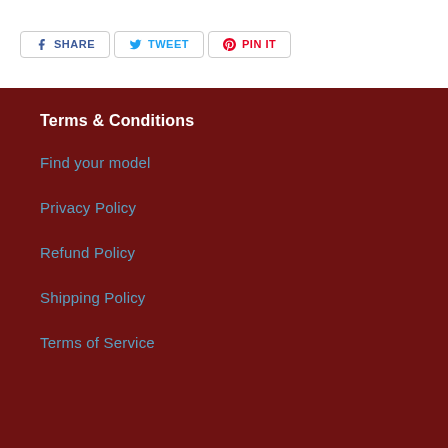SHARE   TWEET   PIN IT
Terms & Conditions
Find your model
Privacy Policy
Refund Policy
Shipping Policy
Terms of Service